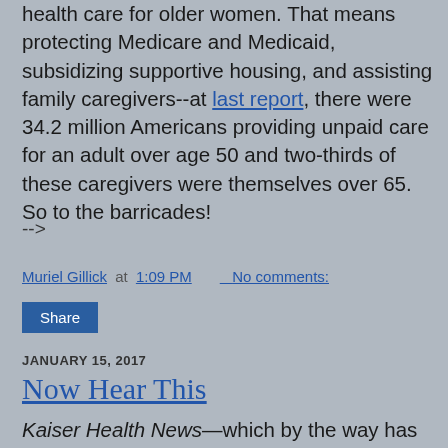health care for older women. That means protecting Medicare and Medicaid, subsidizing supportive housing, and assisting family caregivers--at last report, there were 34.2 million Americans providing unpaid care for an adult over age 50 and two-thirds of these caregivers were themselves over 65. So to the barricades!
-->
Muriel Gillick at 1:09 PM   No comments:
Share
JANUARY 15, 2017
Now Hear This
Kaiser Health News—which by the way has some of the most interesting and important articles relevant to